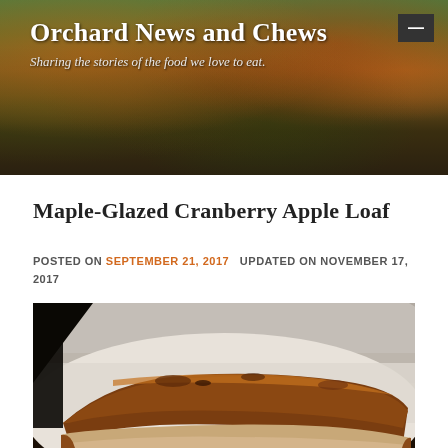Orchard News and Chews — Sharing the stories of the food we love to eat.
Maple-Glazed Cranberry Apple Loaf
POSTED ON SEPTEMBER 21, 2017   UPDATED ON NOVEMBER 17, 2017
[Figure (photo): Close-up photo of a sliced maple-glazed cranberry apple loaf showing the dense interior with visible fruit pieces and a caramelized top crust, served on a white plate with dark background.]